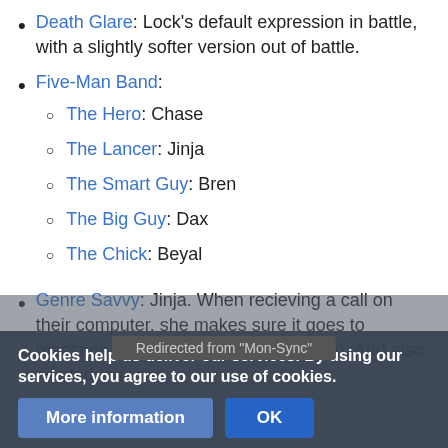Death Glare: Lock's default expression in battle, with a slightly softer version out of battle.
Five-Man Band:
The Hero: Chase
The Lancer: Jinja
The Smart Guy: Bren
The Big Guy: Dax
The Chick: Beyal
Genre Savvy: Jinja. When recieving a call on their computer, she makes sure it goes to message (otherwise it could be traced). And also wanted to make
G... ...save the...
Cookies help us deliver our services. By using our services, you agree to our use of cookies.
Redirected from "Mon-Sync"
More information | OK